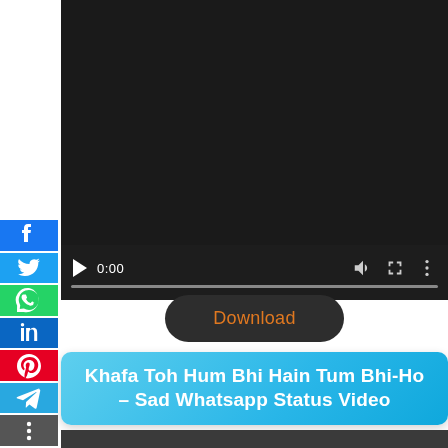[Figure (screenshot): Video player with dark background showing 0:00 timestamp, play button, volume, fullscreen and more icons, with a progress bar]
Download
Khafa Toh Hum Bhi Hain Tum Bhi-Ho – Sad Whatsapp Status Video
[Figure (screenshot): Second video player area with dark background]